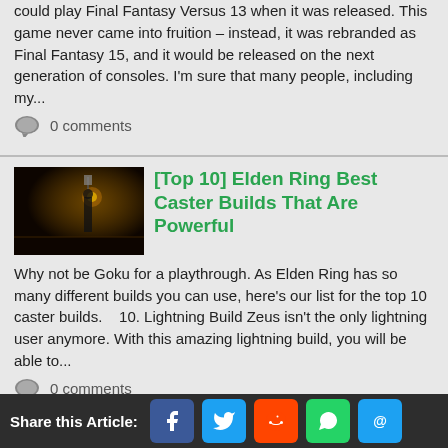could play Final Fantasy Versus 13 when it was released. This game never came into fruition – instead, it was rebranded as Final Fantasy 15, and it would be released on the next generation of consoles. I'm sure that many people, including my...
0 comments
[Top 10] Elden Ring Best Caster Builds That Are Powerful
[Figure (photo): Dark atmospheric screenshot from Elden Ring showing a figure with a lantern in a dimly lit environment]
Why not be Goku for a playthrough. As Elden Ring has so many different builds you can use, here's our list for the top 10 caster builds.    10. Lightning Build Zeus isn't the only lightning user anymore. With this amazing lightning build, you will be able to...
0 comments
[Top 5] Warframe Best Intrinsics That Are Most Useful (Latest
[Figure (photo): Warframe game screenshot showing a blue sci-fi space environment with planetary bodies and armored characters]
Share this Article: